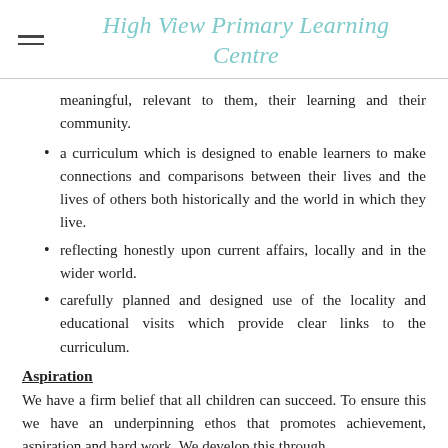High View Primary Learning Centre
meaningful, relevant to them, their learning and their community.
a curriculum which is designed to enable learners to make connections and comparisons between their lives and the lives of others both historically and the world in which they live.
reflecting honestly upon current affairs, locally and in the wider world.
carefully planned and designed use of the locality and educational visits which provide clear links to the curriculum.
Aspiration
We have a firm belief that all children can succeed. To ensure this we have an underpinning ethos that promotes achievement, aspiration and hard work. We develop this through
making purposeful links with the wider community